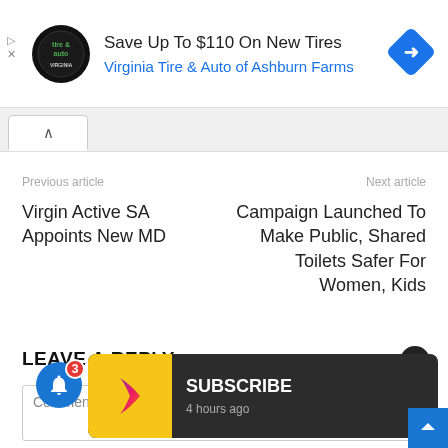[Figure (screenshot): Advertisement banner for Virginia Tire & Auto of Ashburn Farms with logo, headline 'Save Up To $110 On New Tires', and blue navigation diamond icon]
Previous article
Next article
Virgin Active SA Appoints New MD
Campaign Launched To Make Public, Shared Toilets Safer For Women, Kids
LEAVE A REPLY
Comment:
[Figure (screenshot): Dark toast notification with yellow icon showing a play button logo and text 'SUBSCRIBE' with subtitle '4 hours ago']